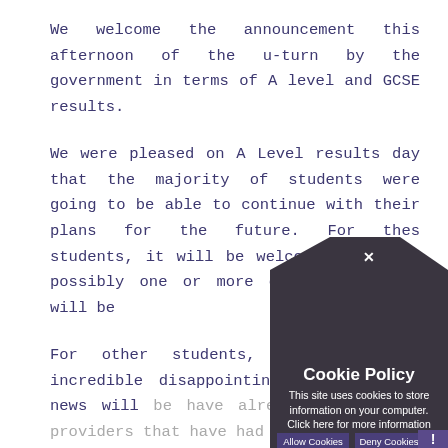We welcome the announcement this afternoon of the u-turn by the government in terms of A level and GCSE results.
We were pleased on A Level results day that the majority of students were going to be able to continue with their plans for the future. For these students, it will be welcome news that possibly one or more of their grades will be...
For other students, this will be incredible disappointing news. The news will be... have already... educational providers that have had...
[Figure (screenshot): Cookie Policy popup overlay with dark charcoal background. Contains a pentagon/speech-bubble shape at top with an X close button, then title 'Cookie Policy', body text 'This site uses cookies to store information on your computer. Click here for more information', two buttons 'Allow Cookies' and 'Deny Cookies', and an exclamation mark in bottom right corner.]